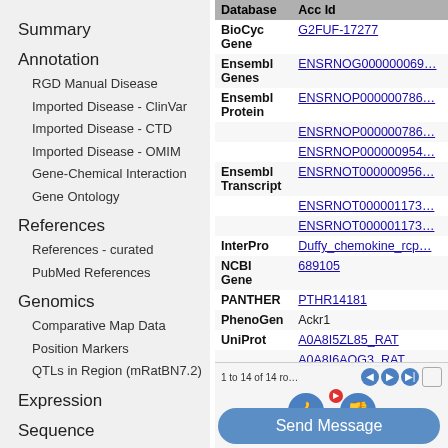Summary
Annotation
RGD Manual Disease
Imported Disease - ClinVar
Imported Disease - CTD
Imported Disease - OMIM
Gene-Chemical Interaction
Gene Ontology
References
References - curated
PubMed References
Genomics
Comparative Map Data
Position Markers
QTLs in Region (mRatBN7.2)
Expression
Sequence
| Database | Acc Id |
| --- | --- |
| BioCyc Gene | G2FUF-17277 |
| Ensembl Genes | ENSRNOG000000069… |
| Ensembl Protein | ENSRNOP000000786… |
|  | ENSRNOP000000786… |
|  | ENSRNOP000000954… |
| Ensembl Transcript | ENSRNOT000000956… |
|  | ENSRNOT000001173… |
|  | ENSRNOT000001173… |
| InterPro | Duffy_chemokine_rcp… |
| NCBI Gene | 689105 |
| PANTHER | PTHR14181 |
| PhenoGen | Ackr1 |
| UniProt | A0A8I5ZL85_RAT |
|  | A0A8I6AQG3_RAT |